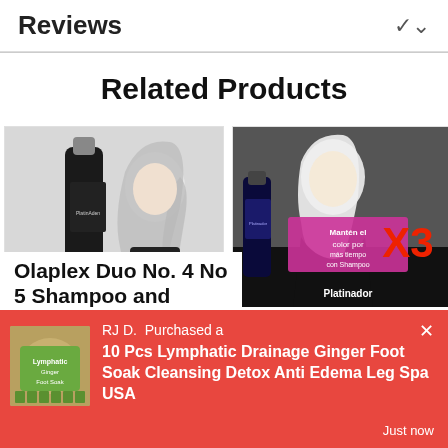Reviews
Related Products
[Figure (photo): Product photo: bottle of Magicolor Platinador Black Purple Shampoo next to a woman with long silver/grey wavy hair wearing a dark outfit]
1x MAGICOLOR PLATINADOR BLACK PURPLE SHAMPOO
[Figure (photo): Product advertisement: 3x 315 ML Magicolor Platinador Black Purple Shampoo, featuring woman with short platinum blonde hair, pink banner text 'Mantén el color por más tiempo con Shampoo Platinador' and large X3 text]
3x 315 ML MAGICOLOR PLATINADOR BLACK
Olaplex Duo No. 4 No 5 Shampoo and
RJ D.  Purchased a
10 Pcs Lymphatic Drainage Ginger Foot Soak Cleansing Detox Anti Edema Leg Spa USA
Just now